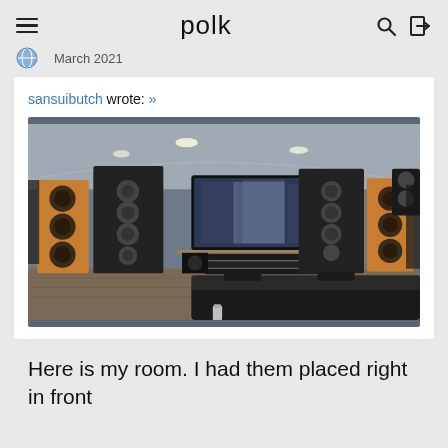polk
March 2021
sansuibutch wrote: »
[Figure (photo): Home theater room with large floor-standing speakers on left and right (orange/wood finish with black acoustic panels), a large flat screen TV on the wall, audio equipment stacked in the center, acoustic foam panels on the walls, and a black leather seating area in the foreground.]
Here is my room. I had them placed right in front